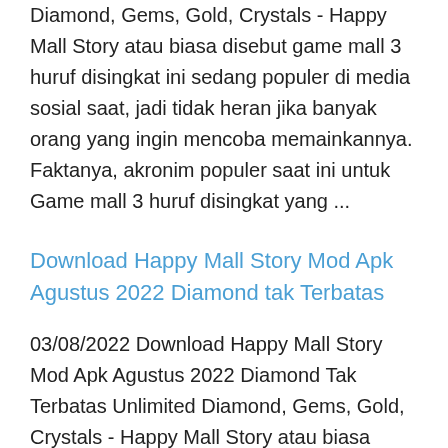Diamond, Gems, Gold, Crystals - Happy Mall Story atau biasa disebut game mall 3 huruf disingkat ini sedang populer di media sosial saat, jadi tidak heran jika banyak orang yang ingin mencoba memainkannya. Faktanya, akronim populer saat ini untuk Game mall 3 huruf disingkat yang ...
Download Happy Mall Story Mod Apk Agustus 2022 Diamond tak Terbatas
03/08/2022 Download Happy Mall Story Mod Apk Agustus 2022 Diamond Tak Terbatas Unlimited Diamond, Gems, Gold, Crystals - Happy Mall Story atau biasa disebut game mall 3 huruf disingkat ini sedang populer di media sosial saat, jadi